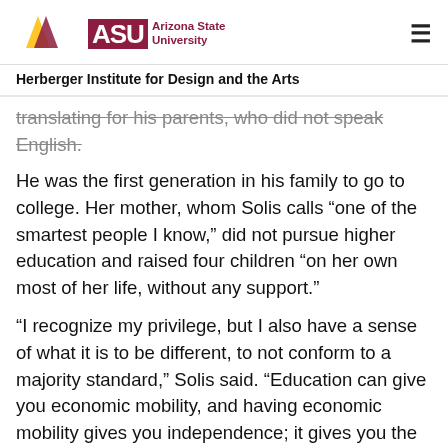ASU Arizona State University — Herberger Institute for Design and the Arts
translating for his parents, who did not speak English. He was the first generation in his family to go to college. Her mother, whom Solis calls “one of the smartest people I know,” did not pursue higher education and raised four children “on her own most of her life, without any support.”
“I recognize my privilege, but I also have a sense of what it is to be different, to not conform to a majority standard,” Solis said. “Education can give you economic mobility, and having economic mobility gives you independence; it gives you the opportunity to get out of bad situations. It gives you the opportunity to say no to things that don’t align with